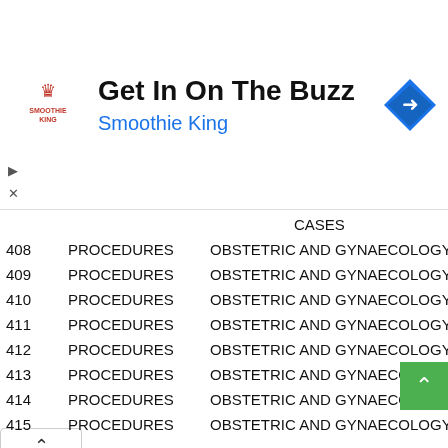[Figure (advertisement): Smoothie King advertisement banner with logo, text 'Get In On The Buzz', subtitle 'Smoothie King', and navigation arrow icon]
| # | TYPE | DESCRIPTION | CODE |
| --- | --- | --- | --- |
| 408 | PROCEDURES | OBSTETRIC AND GYNAECOLOGY CASES | 01C |
| 409 | PROCEDURES | OBSTETRIC AND GYNAECOLOGY CASES | 01C |
| 410 | PROCEDURES | OBSTETRIC AND GYNAECOLOGY CASES | 01C |
| 411 | PROCEDURES | OBSTETRIC AND GYNAECOLOGY CASES | 01C |
| 412 | PROCEDURES | OBSTETRIC AND GYNAECOLOGY CASES | 01C |
| 413 | PROCEDURES | OBSTETRIC AND GYNAECOLOGY CASES | 01C |
| 414 | PROCEDURES | OBSTETRIC AND GYNAECOLOGY CASES | 01C |
| 415 | PROCEDURES | OBSTETRIC AND GYNAECOLOGY CASES | 01C |